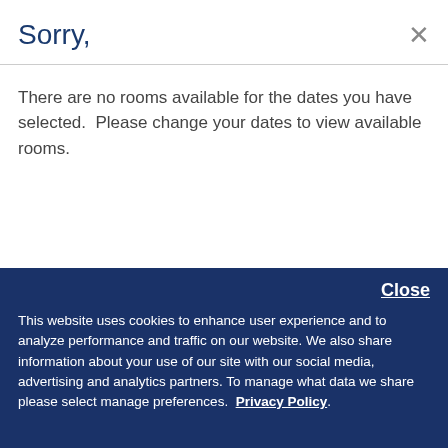Sorry,
There are no rooms available for the dates you have selected.  Please change your dates to view available rooms.
Close
This website uses cookies to enhance user experience and to analyze performance and traffic on our website. We also share information about your use of our site with our social media, advertising and analytics partners. To manage what data we share please select manage preferences.  Privacy Policy.